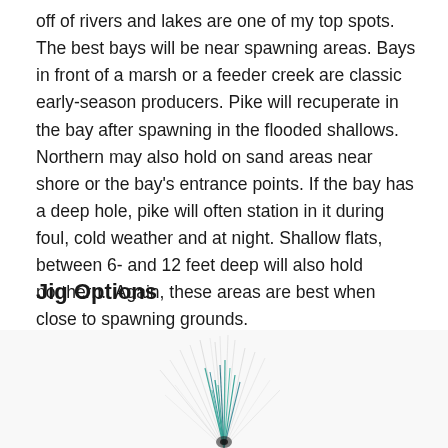off of rivers and lakes are one of my top spots. The best bays will be near spawning areas. Bays in front of a marsh or a feeder creek are classic early-season producers. Pike will recuperate in the bay after spawning in the flooded shallows. Northern may also hold on sand areas near shore or the bay's entrance points. If the bay has a deep hole, pike will often station in it during foul, cold weather and at night. Shallow flats, between 6- and 12 feet deep will also hold northern.  Again, these areas are best when close to spawning grounds.
Jig Options
[Figure (photo): Partial image of fishing jigs or lures with visible thin wire/hook elements and teal/blue colored materials, shown from below the page fold.]